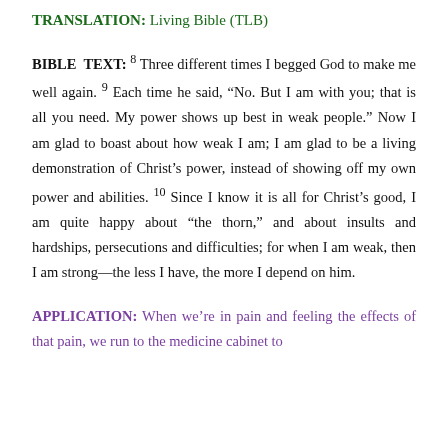TRANSLATION: Living Bible (TLB)
BIBLE TEXT: 8 Three different times I begged God to make me well again. 9 Each time he said, “No. But I am with you; that is all you need. My power shows up best in weak people.” Now I am glad to boast about how weak I am; I am glad to be a living demonstration of Christ’s power, instead of showing off my own power and abilities. 10 Since I know it is all for Christ’s good, I am quite happy about “the thorn,” and about insults and hardships, persecutions and difficulties; for when I am weak, then I am strong—the less I have, the more I depend on him.
APPLICATION: When we’re in pain and feeling the effects of that pain, we run to the medicine cabinet to